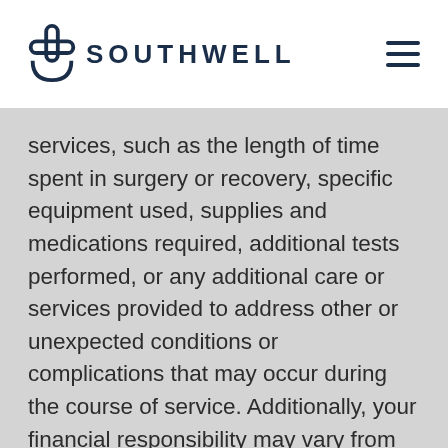SOUTHWELL
services, such as the length of time spent in surgery or recovery, specific equipment used, supplies and medications required, additional tests performed, or any additional care or services provided to address other or unexpected conditions or complications that may occur during the course of service. Additionally, your financial responsibility may vary from actual charges depending on insurance coverage. When comparing charges with other hospitals or provider practices, it is important to understand that their charges may or may not include both the hospital charges and